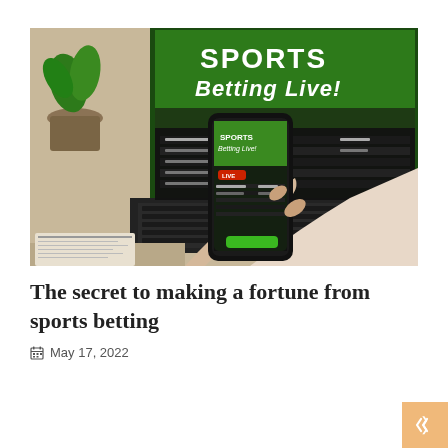[Figure (photo): Person holding a smartphone showing a sports betting app, with a laptop displaying 'SPORTS Betting Live!' in the background. Person is sitting at a desk.]
The secret to making a fortune from sports betting
May 17, 2022